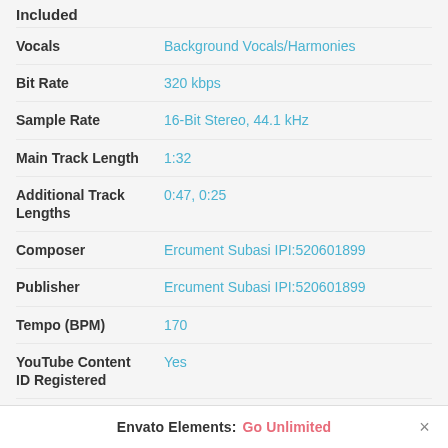Included
| Field | Value |
| --- | --- |
| Vocals | Background Vocals/Harmonies |
| Bit Rate | 320 kbps |
| Sample Rate | 16-Bit Stereo, 44.1 kHz |
| Main Track Length | 1:32 |
| Additional Track Lengths | 0:47, 0:25 |
| Composer | Ercument Subasi IPI:520601899 |
| Publisher | Ercument Subasi IPI:520601899 |
| Tempo (BPM) | 170 |
| YouTube Content ID Registered | Yes |
| YouTube Content | AdRev |
Envato Elements: Go Unlimited ×